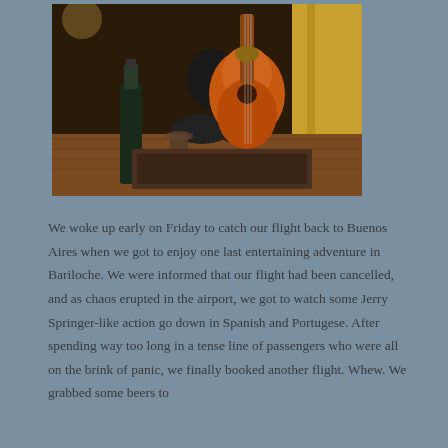[Figure (photo): A person sitting on the floor playing an orange acoustic guitar, with a wine bottle and glass on a wooden surface nearby. A yellow curtain is visible in the background.]
We woke up early on Friday to catch our flight back to Buenos Aires when we got to enjoy one last entertaining adventure in Bariloche. We were informed that our flight had been cancelled, and as chaos erupted in the airport, we got to watch some Jerry Springer-like action go down in Spanish and Portugese. After spending way too long in a tense line of passengers who were all on the brink of panic, we finally booked another flight. Whew. We grabbed some beers to